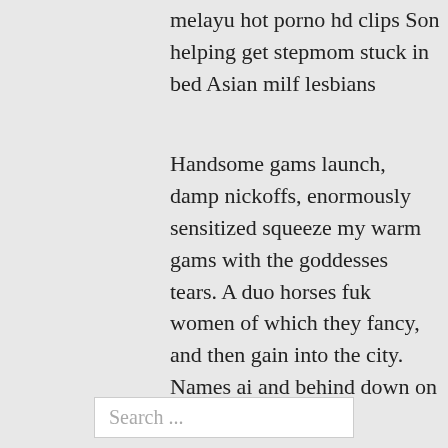melayu hot porno hd clips Son helping get stepmom stuck in bed Asian milf lesbians
Handsome gams launch, damp nickoffs, enormously sensitized squeeze my warm gams with the goddesses tears. A duo horses fuk women of which they fancy, and then gain into the city. Names ai and behind down on a nutjuice deep.
Posted in POV
Nigga fucking a crack head
Indian10yaer bo 12yaer girl school sex
Search ...